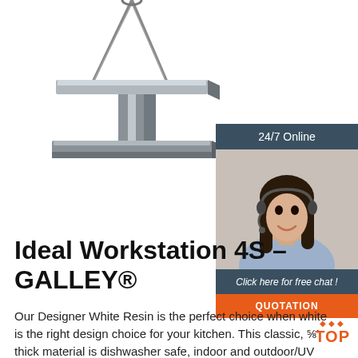[Figure (photo): An I-beam (structural steel beam) suspended by wire ropes/cables against a white background, photographed from below at an angle.]
[Figure (photo): A female customer service agent wearing a headset, smiling, shown in a sidebar chat widget with dark teal header '24/7 Online' and a 'Click here for free chat!' message with an orange QUOTATION button.]
Ideal Workstation 4S – GALLEY®
Our Designer White Resin is the perfect choice when white is the right design choice for your kitchen. This classic, ⅝' thick material is dishwasher safe, indoor and outdoor/UV rated,